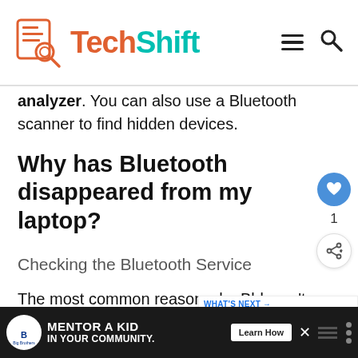TechShift
analyzer. You can also use a Bluetooth scanner to find hidden devices.
Why has Bluetooth disappeared from my laptop?
Checking the Bluetooth Service
The most common reason why Bluetooth doesn't show in Settings is that its service isn't enabled. By default, the s...
[Figure (other): Advertisement banner: Big Brothers Big Sisters of America — MENTOR A KID IN YOUR COMMUNITY. Learn How button.]